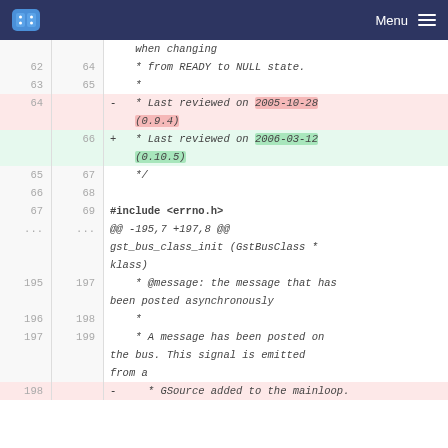Menu
when changing
62  64    * from READY to NULL state.
63  65    *
64     -  * Last reviewed on 2005-10-28 (0.9.4)
66 +  * Last reviewed on 2006-03-12 (0.10.5)
65  67    */
66  68
67  69    #include <errno.h>
@@ -195,7 +197,8 @@ gst_bus_class_init (GstBusClass * klass)
195  197      * @message: the message that has been posted asynchronously
196  198      *
197  199      * A message has been posted on the bus. This signal is emitted from a
198     -      * GSource added to the mainloop.